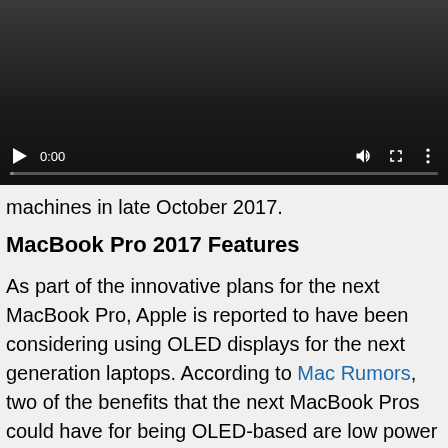[Figure (screenshot): Video player with dark background showing controls: play button, time display '0:00', volume icon, fullscreen icon, more options icon, and progress bar at bottom]
machines in late October 2017.
MacBook Pro 2017 Features
As part of the innovative plans for the next MacBook Pro, Apple is reported to have been considering using OLED displays for the next generation laptops. According to Mac Rumors, two of the benefits that the next MacBook Pros could have for being OLED-based are low power consumption and thinner design.
Since OLED panels are relatively thin, this allows Apple to save space in MacBook Pro, thus, coming up with a thinner and slimmer laptop. Aside from that, OLED-based displays are